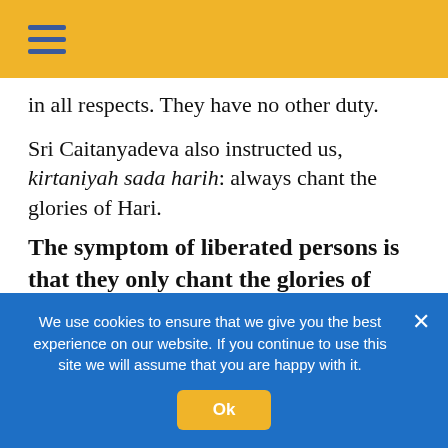≡ (hamburger menu icon)
in all respects. They have no other duty.
Sri Caitanyadeva also instructed us, kirtaniyah sada harih: always chant the glories of Hari.
The symptom of liberated persons is that they only chant the glories of Hari at all times with body, mind, and speech.
Sri Sarasvati Samlapa, Conversation 5
We use cookies to ensure that we give you the best experience on our website. If you continue to use this site we will assume that you are happy with it.